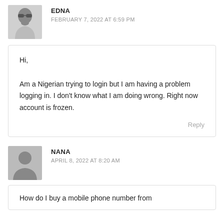[Figure (photo): Avatar photo of commenter Edna — grayscale photo of a person wearing sunglasses]
EDNA
FEBRUARY 7, 2022 AT 6:59 PM
Hi,
Am a Nigerian trying to login but I am having a problem logging in. I don't know what I am doing wrong. Right now account is frozen.
Reply
[Figure (illustration): Default avatar icon — gray silhouette of a person on gray background]
NANA
APRIL 8, 2022 AT 8:20 AM
How do I buy a mobile phone number from